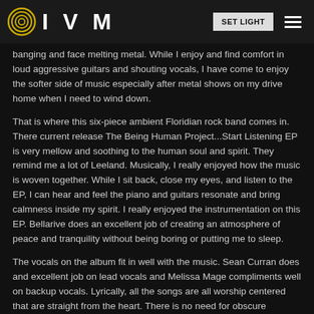IVM | SET LIGHT
banging and face melting metal. While I enjoy and find comfort in loud aggressive guitars and shouting vocals, I have come to enjoy the softer side of music especially after metal shows on my drive home when I need to wind down.
That is where this six-piece ambient Floridian rock band comes in. There current release The Being Human Project...Start Listening EP is very mellow and soothing to the human soul and spirit. They remind me a lot of Leeland. Musically, I really enjoyed how the music is woven together. While I sit back, close my eyes, and listen to the EP, I can hear and feel the piano and guitars resonate and bring calmness inside my spirit. I really enjoyed the instrumentation on this EP. Bellarive does an excellent job of creating an atmosphere of peace and tranquility without being boring or putting me to sleep.
The vocals on the album fit in well with the music. Sean Curran does and excellent job on lead vocals and Melissa Mage compliments well on backup vocals. Lyrically, all the songs are all worship centered that are straight from the heart. There is no need for obscure metaphors to wrap a message around. Every believer can identify and relate to